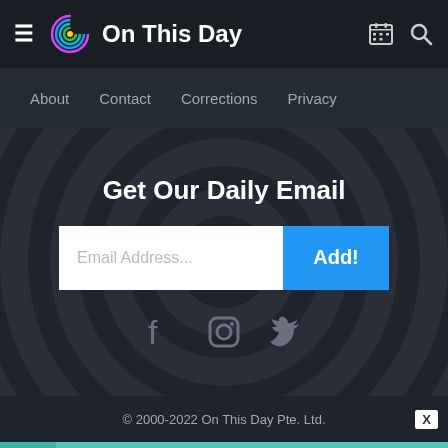On This Day
About   Contact   Corrections   Privacy
Get Our Daily Email
Email Address...
Add!
© 2000-2022 On This Day Pte. Ltd.
[Figure (other): Advertisement banner: SHE Partner Network - Earning site & social revenue, Become a Member, Learn More button]